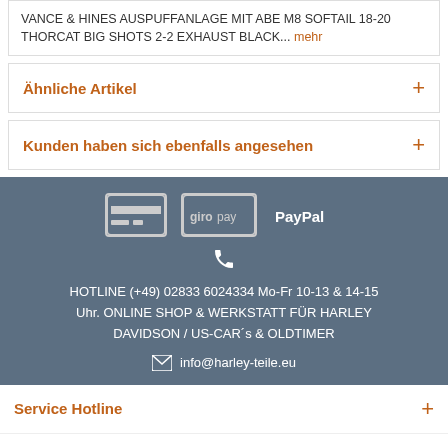VANCE & HINES AUSPUFFANLAGE MIT ABE M8 SOFTAIL 18-20 THORCAT BIG SHOTS 2-2 EXHAUST BLACK... mehr
Ähnliche Artikel +
Kunden haben sich ebenfalls angesehen +
[Figure (infographic): Payment icons: credit card, giropay, PayPal; phone icon; hotline text and email address on dark blue-grey background]
HOTLINE (+49) 02833 6024334 Mo-Fr 10-13 & 14-15 Uhr. ONLINE SHOP & WERKSTATT FÜR HARLEY DAVIDSON / US-CAR´s & OLDTIMER
info@harley-teile.eu
Service Hotline +
Shop Service +